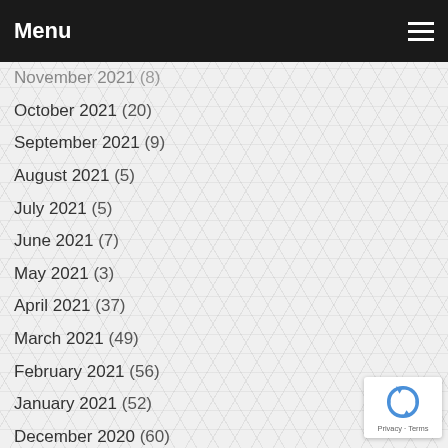Menu
November 2021 (8)
October 2021 (20)
September 2021 (9)
August 2021 (5)
July 2021 (5)
June 2021 (7)
May 2021 (3)
April 2021 (37)
March 2021 (49)
February 2021 (56)
January 2021 (52)
December 2020 (60)
November 2020 (42)
October 2020 (31)
September 2020 (28)
August 2020 (26)